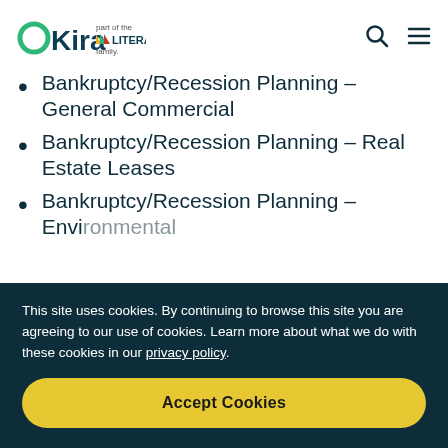OKira – part of the LITERA family.
Bankruptcy/Recession Planning – General Commercial
Bankruptcy/Recession Planning – Real Estate Leases
Bankruptcy/Recession Planning – Envi...
This site uses cookies. By continuing to browse this site you are agreeing to our use of cookies. Learn more about what we do with these cookies in our privacy policy.
Accept Cookies